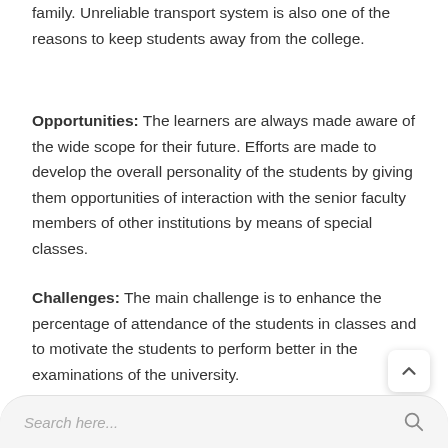family. Unreliable transport system is also one of the reasons to keep students away from the college.
Opportunities: The learners are always made aware of the wide scope for their future. Efforts are made to develop the overall personality of the students by giving them opportunities of interaction with the senior faculty members of other institutions by means of special classes.
Challenges: The main challenge is to enhance the percentage of attendance of the students in classes and to motivate the students to perform better in the examinations of the university.